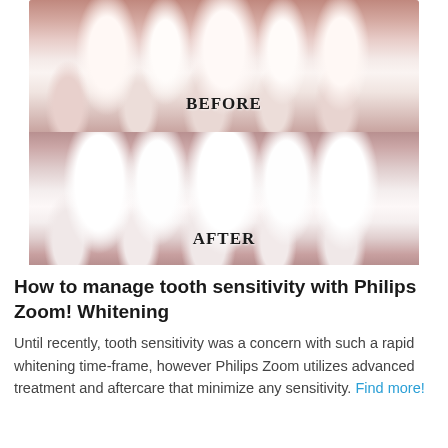[Figure (photo): Before and after dental whitening comparison. Top image shows teeth labeled 'BEFORE' with a yellowish/cream tone. Bottom image shows the same teeth labeled 'AFTER' with a noticeably whiter appearance.]
How to manage tooth sensitivity with Philips Zoom! Whitening
Until recently, tooth sensitivity was a concern with such a rapid whitening time-frame, however Philips Zoom utilizes advanced treatment and aftercare that minimize any sensitivity. Find more!